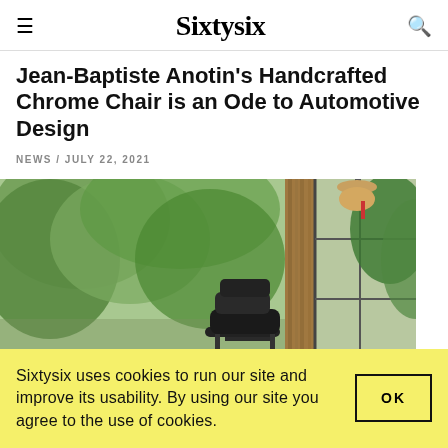Sixtysix
Jean-Baptiste Anotin's Handcrafted Chrome Chair is an Ode to Automotive Design
NEWS / JULY 22, 2021
[Figure (photo): Interior room scene with a black lounge chair, lush green tropical plants visible through large windows, wooden column/pillar, and a hanging lamp with a woven shade. Natural light from outside.]
Sixtysix uses cookies to run our site and improve its usability. By using our site you agree to the use of cookies.